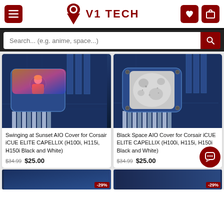[Figure (logo): V1 Tech logo with hamburger menu, heart, and cart icons in dark red]
[Figure (screenshot): Search bar with placeholder 'Search... (e.g. anime, space...)' and red search button]
[Figure (photo): Swinging at Sunset AIO Cover product image showing anime-style figure on CPU cooler]
Swinging at Sunset AIO Cover for Corsair iCUE ELITE CAPELLIX (H100i, H115i, H150i Black and White)
$34.99  $25.00
[Figure (photo): Black Space AIO Cover product image showing moon texture on CPU cooler]
Black Space AIO Cover for Corsair iCUE ELITE CAPELLIX (H100i, H115i, H150i Black and White)
$34.99  $25.00
[Figure (photo): Bottom row: two partially visible product thumbnails each with -29% discount badge]